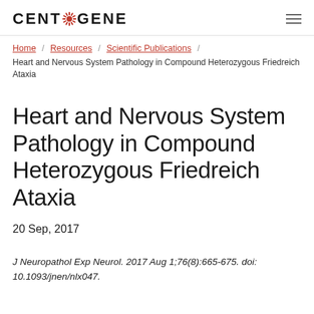CENTOGENE
Home / Resources / Scientific Publications /
Heart and Nervous System Pathology in Compound Heterozygous Friedreich Ataxia
Heart and Nervous System Pathology in Compound Heterozygous Friedreich Ataxia
20 Sep, 2017
J Neuropathol Exp Neurol. 2017 Aug 1;76(8):665-675. doi: 10.1093/jnen/nlx047.